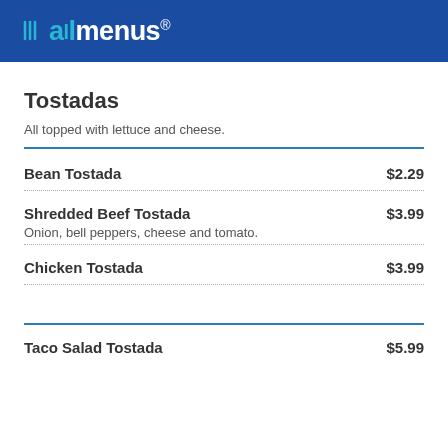allmenus
Tostadas
All topped with lettuce and cheese.
Bean Tostada $2.29
Shredded Beef Tostada $3.99 — Onion, bell peppers, cheese and tomato.
Chicken Tostada $3.99
Taco Salad Tostada $5.99